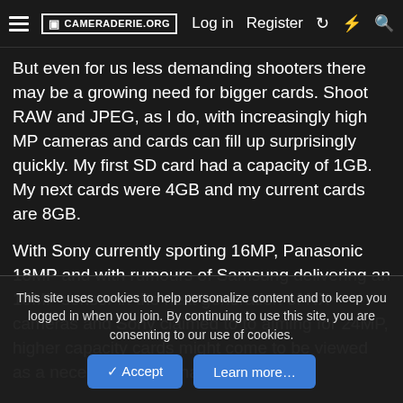CAMERADERIE.ORG  Log in  Register
But even for us less demanding shooters there may be a growing need for bigger cards. Shoot RAW and JPEG, as I do, with increasingly high MP cameras and cards can fill up surprisingly quickly. My first SD card had a capacity of 1GB. My next cards were 4GB and my current cards are 8GB.
With Sony currently sporting 16MP, Panasonic 18MP and with rumours of Samsung delivering an 18MP sensor in the next generation of NX cameras and Sony claimed to to aiming for 24MP, higher capacity cards might come to be viewed as a necessity rather than a
This site uses cookies to help personalize content and to keep you logged in when you join. By continuing to use this site, you are consenting to our use of cookies.